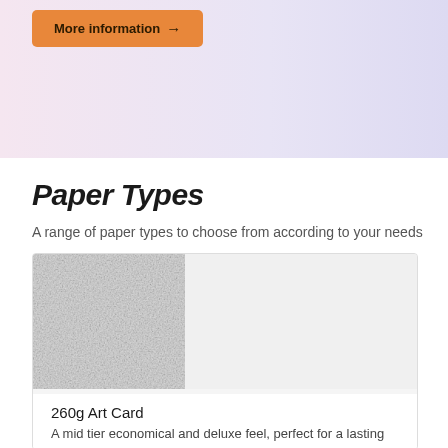[Figure (other): Pink-to-lavender gradient banner with an orange 'More information →' button]
Paper Types
A range of paper types to choose from according to your needs
[Figure (photo): Close-up texture photo of white 260g Art Card paper with light grey right panel]
260g Art Card
A mid tier economical and deluxe feel, perfect for a lasting impression